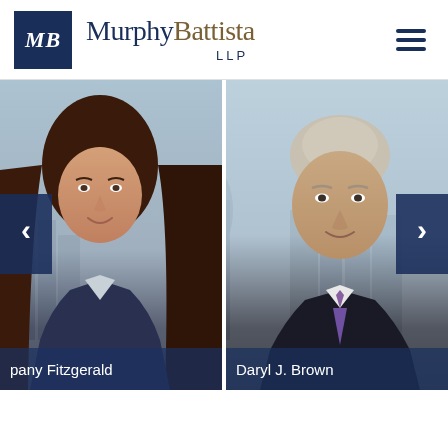[Figure (logo): MurphyBattista LLP law firm logo with dark blue MB monogram box and firm name]
[Figure (photo): Carousel showing two lawyer headshots: a young woman (partly visible, name ending '...pany Fitzgerald') and an older man (Daryl J. Brown), with a city skyline background and left/right navigation arrows]